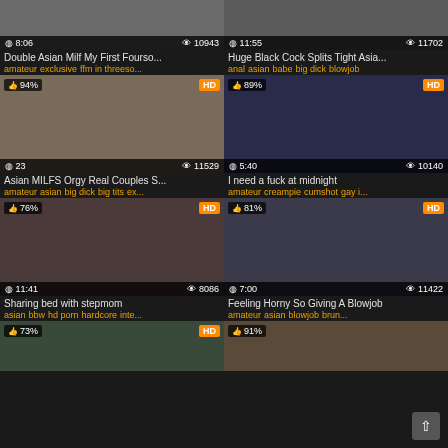[Figure (screenshot): Video thumbnail grid row 1 card 1, duration 8:06, views 10943]
Double Asian Milf My First Fourso...
amateur exclusive ffm in threeso...
[Figure (screenshot): Video thumbnail grid row 1 card 2, duration 11:55, views 11702]
Huge Black Cock Splits Tight Asia...
anal asian babe big dick blowjob
[Figure (screenshot): Video thumbnail, 94%, HD, duration 23, views 11529]
Asian MILFS Orgy Real Couples S...
amateur asian big dick big tits ex...
[Figure (screenshot): Video thumbnail, 89%, HD, duration 5:40, views 10140]
I need a fuck at midnight
amateur creampie cumshot gay i...
[Figure (screenshot): Video thumbnail, 76%, HD, duration 11:41, views 8086]
Sharing bed with stepmom
asian bbw hd porn hardcore inte...
[Figure (screenshot): Video thumbnail, 81%, HD, duration 7:00, views 11422]
Feeling Horny So Giving A Blowjob
amateur asian blowjob brun...
[Figure (screenshot): Video thumbnail row 4 card 1, 73%, HD]
[Figure (screenshot): Video thumbnail row 4 card 2, 91%]